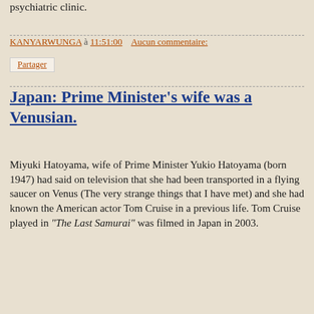psychiatric clinic.
KANYARWUNGA à 11:51:00   Aucun commentaire:
Partager
Japan: Prime Minister's wife was a Venusian.
Miyuki Hatoyama, wife of Prime Minister Yukio Hatoyama (born 1947) had said on television that she had been transported in a flying saucer on Venus (The very strange things that I have met) and she had known the American actor Tom Cruise in a previous life. Tom Cruise played in "The Last Samurai" was filmed in Japan in 2003.